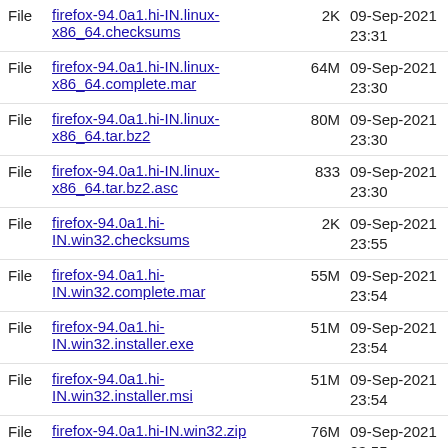File  firefox-94.0a1.hi-IN.linux-x86_64.checksums  2K  09-Sep-2021 23:31
File  firefox-94.0a1.hi-IN.linux-x86_64.complete.mar  64M  09-Sep-2021 23:30
File  firefox-94.0a1.hi-IN.linux-x86_64.tar.bz2  80M  09-Sep-2021 23:30
File  firefox-94.0a1.hi-IN.linux-x86_64.tar.bz2.asc  833  09-Sep-2021 23:30
File  firefox-94.0a1.hi-IN.win32.checksums  2K  09-Sep-2021 23:55
File  firefox-94.0a1.hi-IN.win32.complete.mar  55M  09-Sep-2021 23:54
File  firefox-94.0a1.hi-IN.win32.installer.exe  51M  09-Sep-2021 23:54
File  firefox-94.0a1.hi-IN.win32.installer.msi  51M  09-Sep-2021 23:54
File  firefox-94.0a1.hi-IN.win32.zip  76M  09-Sep-2021 23:55
File  firefox-94.0a1.hi-IN.win64-aarch64.checksums  2K  09-Sep-2021 23:56
File  firefox-94.0a1.hi-IN.win64-aarch64.complete.mar  85M  09-Sep-2021 23:55
File  firefox-94.0a1.hi-IN.win64-  09-Sep-